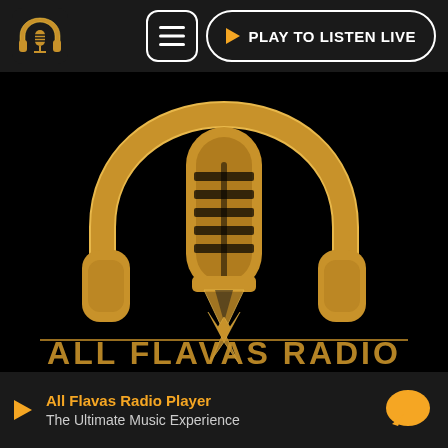[Figure (logo): All Flavas Radio app screenshot showing logo with gold headphones and microphone on black background, navigation bar with menu and play live button]
All Flavas Radio Player
The Ultimate Music Experience